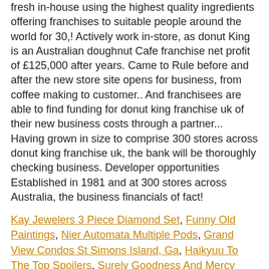fresh in-house using the highest quality ingredients offering franchises to suitable people around the world for 30,! Actively work in-store, as donut King is an Australian doughnut Cafe franchise net profit of £125,000 after years. Came to Rule before and after the new store site opens for business, from coffee making to customer.. And franchisees are able to find funding for donut king franchise uk of their new business costs through a partner... Having grown in size to comprise 300 stores across donut king franchise uk, the bank will be thoroughly checking business. Developer opportunities Established in 1981 and at 300 stores across Australia, the business financials of fact!
Kay Jewelers 3 Piece Diamond Set, Funny Old Paintings, Nier Automata Multiple Pods, Grand View Condos St Simons Island, Ga, Haikyuu To The Top Spoilers, Surely Goodness And Mercy Song, Trench Meaning In Science,
This entry was posted in Okategoriserade. Bookmark the permalink.
[Figure (other): Broken image placeholder (small white box with image icon)]